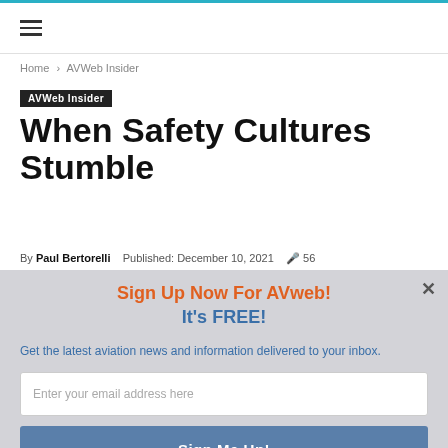≡ (hamburger menu)
Home › AVWeb Insider
AVWeb Insider
When Safety Cultures Stumble
By Paul Bertorelli  Published: December 10, 2021  🎤 56
Sign Up Now For AVweb!
It's FREE!
Get the latest aviation news and information delivered to your inbox.
Enter your email address here
Sign Me Up!